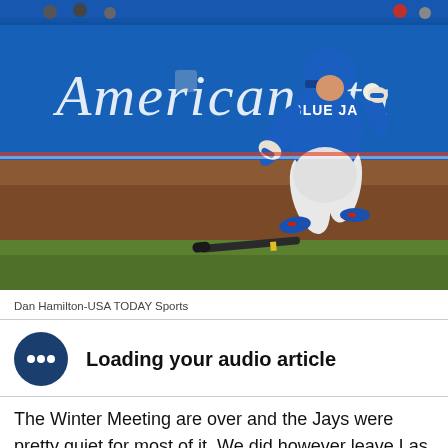[Figure (photo): A Toronto Blue Jays baseball player running after a hit, wearing a blue uniform with 'Blue Ja' visible on the jersey. The stadium wall in the background shows 'American Sta' (partial). A bat lies on the ground.]
Dan Hamilton-USA TODAY Sports
Loading your audio article
The Winter Meeting are over and the Jays were pretty quiet for most of it. We did however leave Las Vegas